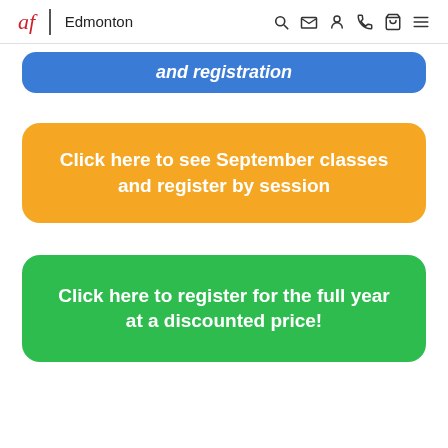af Edmonton
and registration
Click here to see September classes and register by session
Click here to register for the full year at a discounted price!